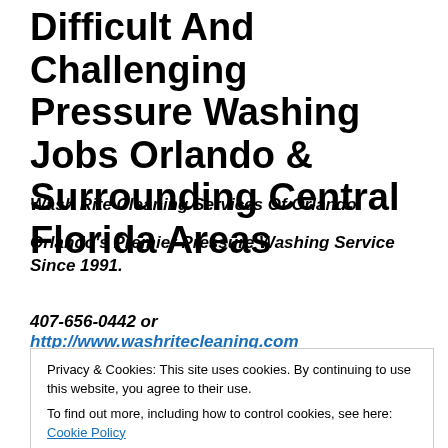Difficult And Challenging Pressure Washing Jobs Orlando & Surrounding Central Florida Areas
Wash Rite Cleaning Services Of Orlando
Orlando's Premier Pressure Washing Service Since 1991.
407-656-0442 or http://www.washritecleaning.com
Privacy & Cookies: This site uses cookies. By continuing to use this website, you agree to their use. To find out more, including how to control cookies, see here: Cookie Policy
[Figure (photo): Photo strip of buildings/properties at the bottom of the page]